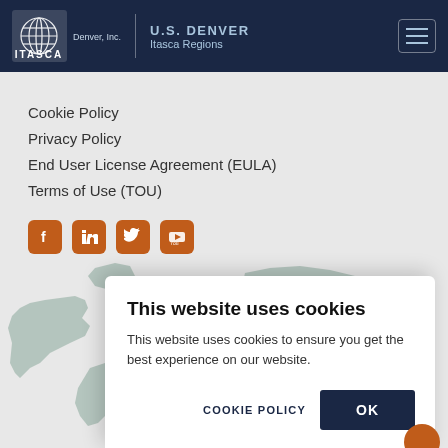[Figure (logo): Itasca Denver Inc. logo with globe/grid icon, white text on dark navy header]
U.S. DENVER | Itasca Regions
Cookie Policy
Privacy Policy
End User License Agreement (EULA)
Terms of Use (TOU)
[Figure (illustration): Social media icons: Facebook, LinkedIn, Twitter, YouTube - orange rounded square buttons]
[Figure (illustration): World map background illustration in muted green/teal color]
This website uses cookies
This website uses cookies to ensure you get the best experience on our website.
COOKIE POLICY   OK